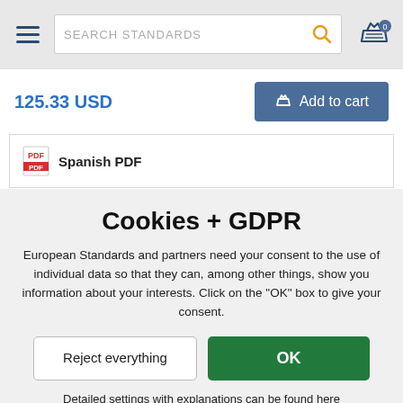[Figure (screenshot): Navigation bar with hamburger menu, search bar labeled SEARCH STANDARDS with magnifying glass icon, and shopping cart icon with 0 badge]
125.33 USD
Add to cart
Spanish PDF
Cookies + GDPR
European Standards and partners need your consent to the use of individual data so that they can, among other things, show you information about your interests. Click on the "OK" box to give your consent.
Reject everything
OK
Detailed settings with explanations can be found here